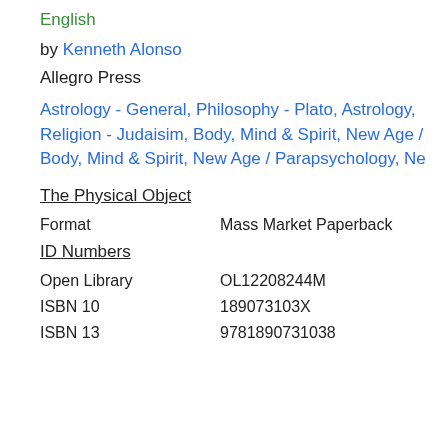English
by Kenneth Alonso
Allegro Press
Astrology - General, Philosophy - Plato, Astrology, Religion - Judaisim, Body, Mind & Spirit, New Age / Body, Mind & Spirit, New Age / Parapsychology, Ne
The Physical Object
Format   Mass Market Paperback
ID Numbers
Open Library   OL12208244M
ISBN 10   189073103X
ISBN 13   9781890731038